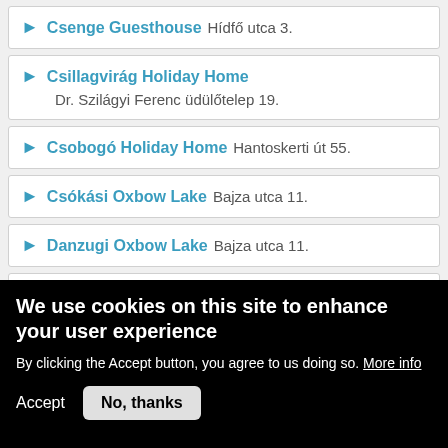Csenge Guesthouse  Hídfő utca 3.
Csillagvirág Holiday Home  Dr. Szilágyi Ferenc üdülőtelep 19.
Csobogó Holiday Home  Hantoskerti út 55.
Csókási Oxbow Lake  Bajza utca 11.
Danzugi Oxbow Lake  Bajza utca 11.
District Government Center  Szabadság tér 1.
Doboskerti Fishing Cottage  Doboskerti út 5.
We use cookies on this site to enhance your user experience
By clicking the Accept button, you agree to us doing so. More info
Accept  No, thanks